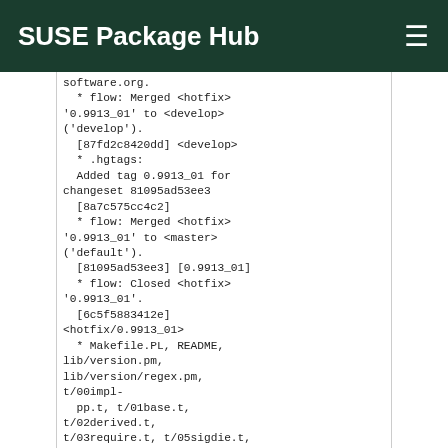SUSE Package Hub
software.org.
  * flow: Merged <hotfix> '0.9913_01' to <develop> ('develop').
  [87fd2c8420dd] <develop>
  * .hgtags:
  Added tag 0.9913_01 for changeset 81095ad53ee3
  [8a7c575cc4c2]
  * flow: Merged <hotfix> '0.9913_01' to <master> ('default').
  [81095ad53ee3] [0.9913_01]
  * flow: Closed <hotfix> '0.9913_01'.
  [6c5f5883412e]
<hotfix/0.9913_01>
  * Makefile.PL, README, lib/version.pm, lib/version/regex.pm, t/00impl-
  pp.t, t/01base.t, t/02derived.t, t/03require.t, t/05sigdie.t,
  t/06noop.t, t/07locale.t, t/08_corelist.t,
  t/09_list_util.t,
  t/10_lyon.t, t/coretests.pm, vperl/vpp.pm,
  vutil/lib/version/vxs.pm,
  vutil/vutil.c:
  Apply missed changeset from leont and prep for